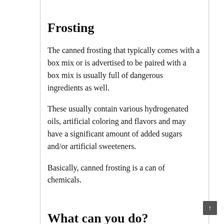Frosting
The canned frosting that typically comes with a box mix or is advertised to be paired with a box mix is usually full of dangerous ingredients as well.
These usually contain various hydrogenated oils, artificial coloring and flavors and may have a significant amount of added sugars and/or artificial sweeteners.
Basically, canned frosting is a can of chemicals.
What can you do?